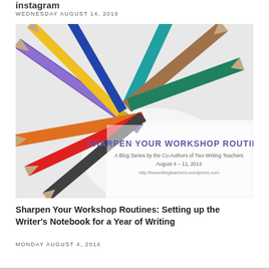instagram
WEDNESDAY AUGUST 14, 2019
[Figure (photo): Colored pencils arranged in a fan/burst pattern pointing toward center on white background, with text overlay reading: SHARPEN YOUR WORKSHOP ROUTINES - A Blog Series by the Co-Authors of Two Writing Teachers August 4 - 11, 2014 http://twowritingteachers.wordpress.com]
Sharpen Your Workshop Routines: Setting up the Writer's Notebook for a Year of Writing
MONDAY AUGUST 4, 2014